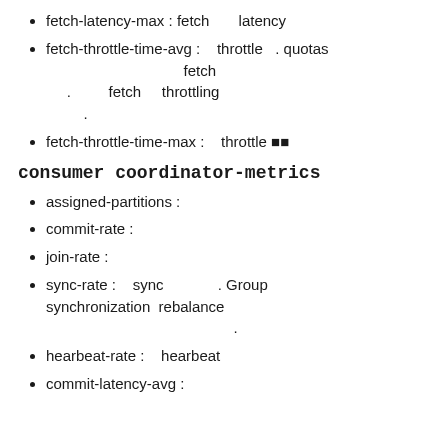fetch-latency-max : fetch latency
fetch-throttle-time-avg : throttle . quotas fetch . fetch throttling .
fetch-throttle-time-max : throttle 🔲🔲
consumer coordinator-metrics
assigned-partitions :
commit-rate :
join-rate :
sync-rate : sync . Group synchronization rebalance .
hearbeat-rate : hearbeat
commit-latency-avg :